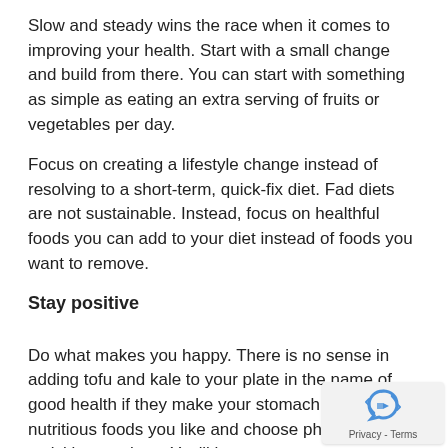Slow and steady wins the race when it comes to improving your health. Start with a small change and build from there. You can start with something as simple as eating an extra serving of fruits or vegetables per day.
Focus on creating a lifestyle change instead of resolving to a short-term, quick-fix diet. Fad diets are not sustainable. Instead, focus on healthful foods you can add to your diet instead of foods you want to remove.
Stay positive
Do what makes you happy. There is no sense in adding tofu and kale to your plate in the name of good health if they make your stomach churn. Eat nutritious foods you like and choose physical activities you love. You'll have more success maintaining your healthier lifestyle if you are enjoying yourself.
Don't give up. Every new day is a new opportunity to on your goals and appreciate your achievements.